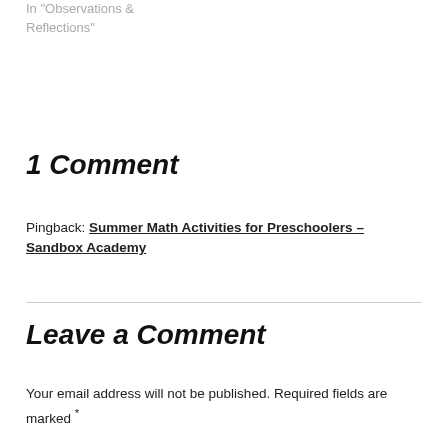In "Observations & Reflections"
1 Comment
Pingback: Summer Math Activities for Preschoolers – Sandbox Academy
Leave a Comment
Your email address will not be published. Required fields are marked *